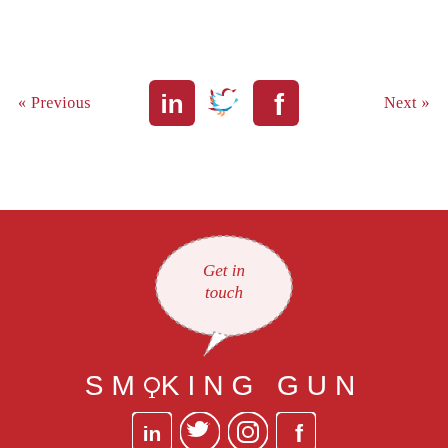« Previous
[Figure (logo): LinkedIn, Twitter, and Facebook social media icons in red on white background]
Next »
[Figure (illustration): Speech bubble illustration with 'Get in touch' text, followed by Smoking Gun logo and social media icons on red background]